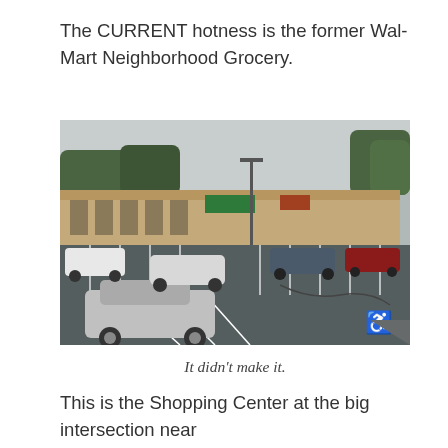The CURRENT hotness is the former Wal-Mart Neighborhood Grocery.
[Figure (photo): Aerial/street-level view of a large retail strip mall parking lot with several cars parked and driving through. The building is a long tan/beige strip mall with green signage. Trees visible in the background.]
It didn't make it.
This is the Shopping Center at the big intersection near